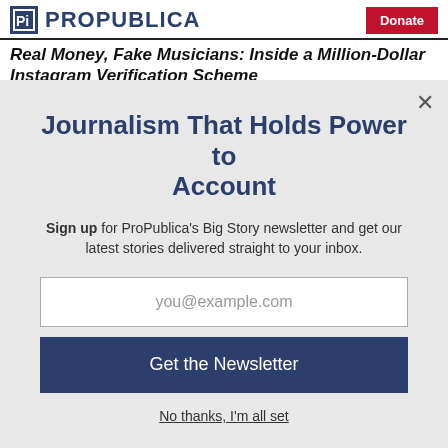ProPublica | Donate
Real Money, Fake Musicians: Inside a Million-Dollar Instagram Verification Scheme
Journalism That Holds Power to Account
Sign up for ProPublica's Big Story newsletter and get our latest stories delivered straight to your inbox.
you@example.com
Get the Newsletter
No thanks, I'm all set
This site is protected by reCAPTCHA and the Google Privacy Policy and Terms of Service apply.